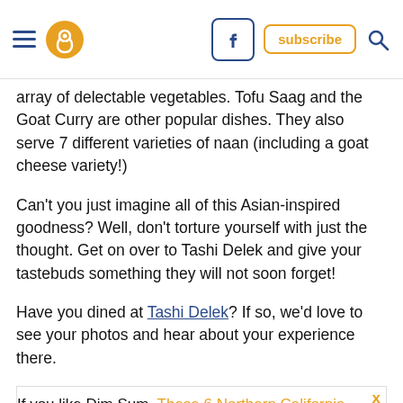Navigation bar with hamburger menu, pin/location icon, Facebook button, subscribe button, search icon
array of delectable vegetables. Tofu Saag and the Goat Curry are other popular dishes. They also serve 7 different varieties of naan (including a goat cheese variety!)
Can't you just imagine all of this Asian-inspired goodness? Well, don't torture yourself with just the thought. Get on over to Tashi Delek and give your tastebuds something they will not soon forget!
Have you dined at Tashi Delek? If so, we'd love to see your photos and hear about your experience there.
If you like Dim Sum, These 6 Northern California Restaurants Serve the Most Amazing Dim Sum And You Need to Visit.
Address: Tashi Delek Cuisine, 11224 San Pablo Ave, El Cerrito, CA 94530 USA